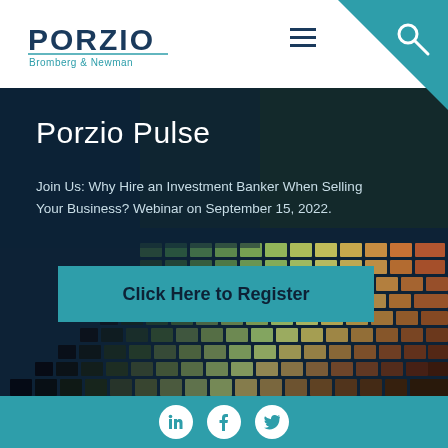[Figure (logo): Porzio Bromberg & Newman law firm logo with teal text]
Porzio Pulse
Join Us: Why Hire an Investment Banker When Selling Your Business? Webinar on September 15, 2022.
Click Here to Register
[Figure (illustration): Colorful mosaic/data visualization background image with greens, oranges, yellows]
[Figure (infographic): Social media icons: LinkedIn, Facebook, Twitter in white circles on teal footer bar]